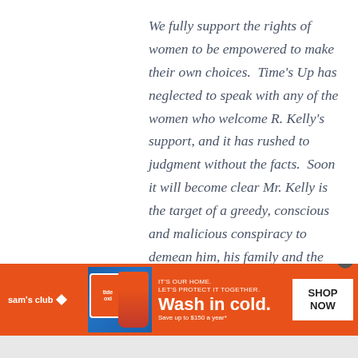We fully support the rights of women to be empowered to make their own choices.  Time's Up has neglected to speak with any of the women who welcome R. Kelly's support, and it has rushed to judgment without the facts.  Soon it will become clear Mr. Kelly is the target of a greedy, conscious and malicious conspiracy to demean him, his family and the women with whom he spends his
[Figure (screenshot): Sam's Club advertisement for Tide laundry detergent. Orange background with Sam's Club logo on left, Tide product images in center-left, text 'IT'S OUR HOME. LET'S PROTECT IT TOGETHER. Wash in cold. Save up to $150 a year*' in center, and 'SHOP NOW' button on right.]